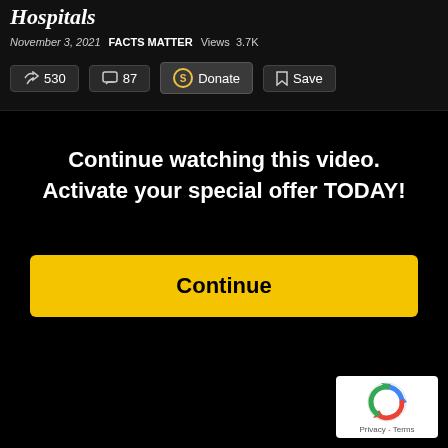Hospitals
November 3, 2021  FACTS MATTER  Views 3.7K
530  87  Donate  Save
Continue watching this video.
Activate your special offer TODAY!
Continue
[Figure (logo): reCAPTCHA logo with Privacy - Terms text]